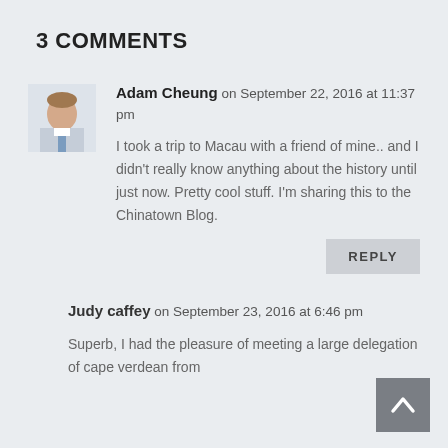3 COMMENTS
Adam Cheung on September 22, 2016 at 11:37 pm
I took a trip to Macau with a friend of mine.. and I didn't really know anything about the history until just now. Pretty cool stuff. I'm sharing this to the Chinatown Blog.
REPLY
Judy caffey on September 23, 2016 at 6:46 pm
Superb, I had the pleasure of meeting a large delegation of cape verdean from